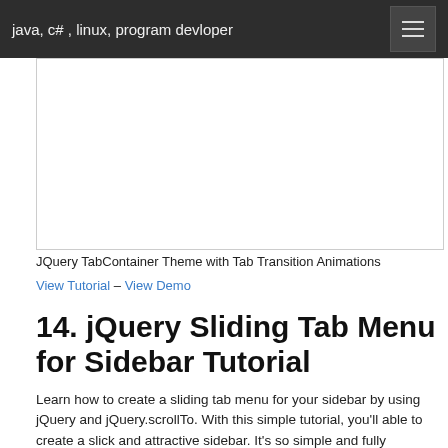java, c# , linux, program devloper
[Figure (other): Advertisement or placeholder image box]
JQuery TabContainer Theme with Tab Transition Animations
View Tutorial – View Demo
14. jQuery Sliding Tab Menu for Sidebar Tutorial
Learn how to create a sliding tab menu for your sidebar by using jQuery and jQuery.scrollTo. With this simple tutorial, you'll able to create a slick and attractive sidebar. It's so simple and fully customizable.
[Figure (other): Broken/loading image placeholder at bottom of page]